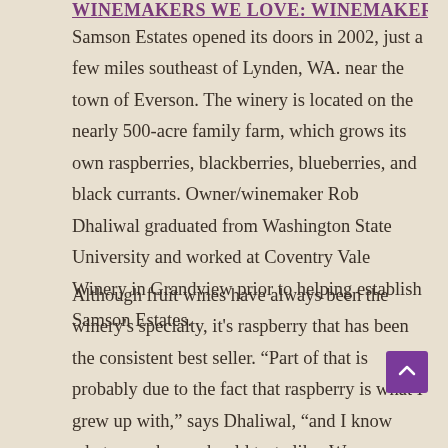WINEMAKERS WE LOVE: WINEMAKERS
Samson Estates opened its doors in 2002, just a few miles southeast of Lynden, WA. near the town of Everson. The winery is located on the nearly 500-acre family farm, which grows its own raspberries, blackberries, blueberries, and black currants. Owner/winemaker Rob Dhaliwal graduated from Washington State University and worked at Coventry Vale Winery in Grandview prior to helping establish Samson Estates.
Although fruit wines have always been the winery's specialty, it's raspberry that has been the consistent best seller. “Part of that is probably due to the fact that raspberry is what I grew up with,” says Dhaliwal, “and I know what a raspberry should taste like. We grow several different varieties on the farm and there are certain ones that work better as wine.”